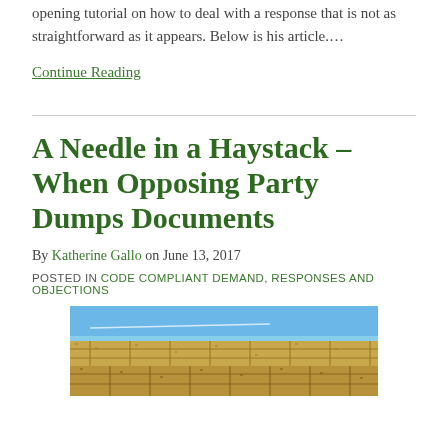opening tutorial on how to deal with a response that is not as straightforward as it appears.  Below is his article….
Continue Reading
A Needle in a Haystack – When Opposing Party Dumps Documents
By Katherine Gallo on June 13, 2017
POSTED IN CODE COMPLIANT DEMAND, RESPONSES AND OBJECTIONS
[Figure (photo): Photo of stacked hay bales against a blue sky]